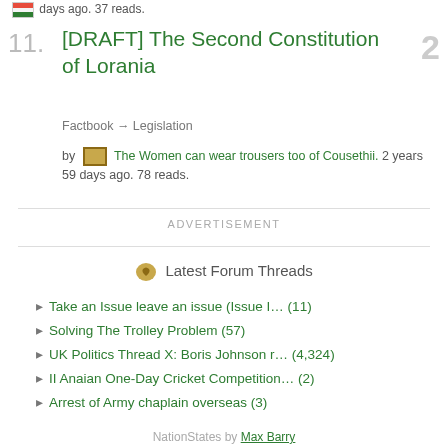days ago. 37 reads.
[DRAFT] The Second Constitution of Lorania
Factbook → Legislation
by The Women can wear trousers too of Cousethii. 2 years 59 days ago. 78 reads.
ADVERTISEMENT
Latest Forum Threads
Take an Issue leave an issue (Issue I… (11)
Solving The Trolley Problem (57)
UK Politics Thread X: Boris Johnson r… (4,324)
II Anaian One-Day Cricket Competition… (2)
Arrest of Army chaplain overseas (3)
NationStates by Max Barry